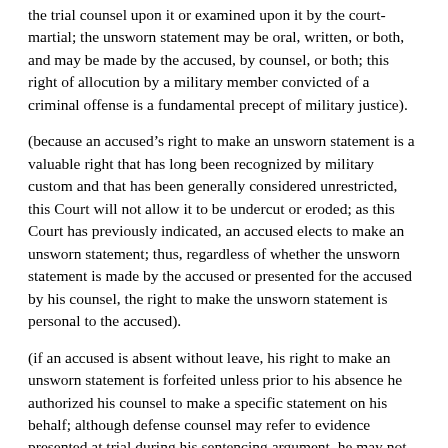the trial counsel upon it or examined upon it by the court-martial; the unsworn statement may be oral, written, or both, and may be made by the accused, by counsel, or both; this right of allocution by a military member convicted of a criminal offense is a fundamental precept of military justice).
(because an accused's right to make an unsworn statement is a valuable right that has long been recognized by military custom and that has been generally considered unrestricted, this Court will not allow it to be undercut or eroded; as this Court has previously indicated, an accused elects to make an unsworn statement; thus, regardless of whether the unsworn statement is made by the accused or presented for the accused by his counsel, the right to make the unsworn statement is personal to the accused).
(if an accused is absent without leave, his right to make an unsworn statement is forfeited unless prior to his absence he authorized his counsel to make a specific statement on his behalf; although defense counsel may refer to evidence presented at trial during his sentencing argument, he may not offer an unsworn statement containing material subject to the attorney-client privilege without waiver of the privilege by his client).
(even though appellant waived his right to be present during sentencing by being voluntarily absent, he did not waive his